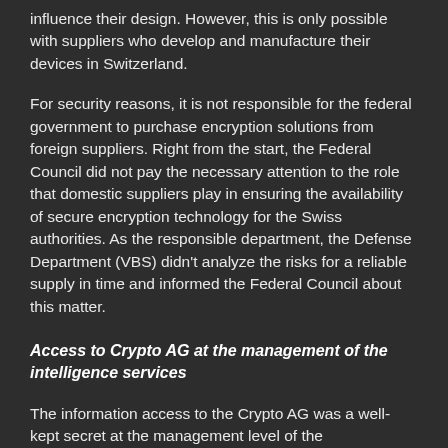influence their design. However, this is only possible with suppliers who develop and manufacture their devices in Switzerland.
For security reasons, it is not responsible for the federal government to purchase encryption solutions from foreign suppliers. Right from the start, the Federal Council did not pay the necessary attention to the role that domestic suppliers play in ensuring the availability of secure encryption technology for the Swiss authorities. As the responsible department, the Defense Department (VBS) didn't analyze the risks for a reliable supply in time and informed the Federal Council about this matter.
Access to Crypto AG at the management of the intelligence services
The information access to the Crypto AG was a well-kept secret at the management level of the